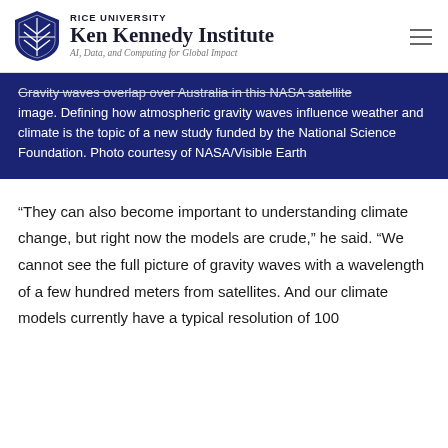RICE UNIVERSITY Ken Kennedy Institute AI, Data, and Computing for Global Impact
Gravity waves overlap over Australia in this NASA satellite image. Defining how atmospheric gravity waves influence weather and climate is the topic of a new study funded by the National Science Foundation. Photo courtesy of NASA/Visible Earth
“They can also become important to understanding climate change, but right now the models are crude,” he said. “We cannot see the full picture of gravity waves with a wavelength of a few hundred meters from satellites. And our climate models currently have a typical resolution of 100